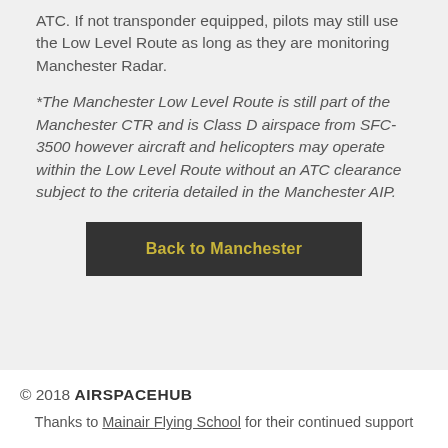ATC. If not transponder equipped, pilots may still use the Low Level Route as long as they are monitoring Manchester Radar.
*The Manchester Low Level Route is still part of the Manchester CTR and is Class D airspace from SFC- 3500 however aircraft and helicopters may operate within the Low Level Route without an ATC clearance subject to the criteria detailed in the Manchester AIP.
Back to Manchester
© 2018 AIRSPACEHUB
Thanks to Mainair Flying School for their continued support